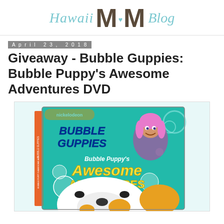Hawaii MOM Blog
April 23, 2018
Giveaway - Bubble Guppies: Bubble Puppy's Awesome Adventures DVD
[Figure (photo): DVD box for Bubble Guppies: Bubble Puppy's Awesome Adventures, showing the Nickelodeon logo, colorful cartoon characters, bubbles, and a cartoon puppy face on the cover.]